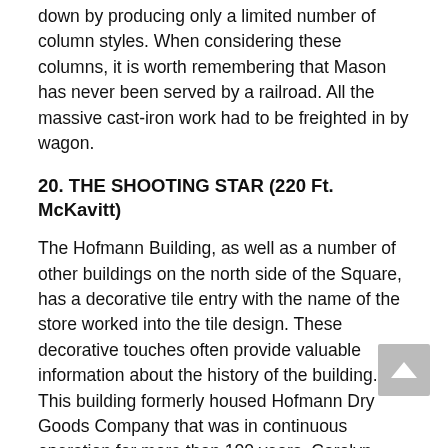down by producing only a limited number of column styles. When considering these columns, it is worth remembering that Mason has never been served by a railroad. All the massive cast-iron work had to be freighted in by wagon.
20. THE SHOOTING STAR (220 Ft. McKavitt)
The Hofmann Building, as well as a number of other buildings on the north side of the Square, has a decorative tile entry with the name of the store worked into the tile design. These decorative touches often provide valuable information about the history of the building. This building formerly housed Hofmann Dry Goods Company that was in continuous operation for more than 100 years. Carolyn Copeland of The Shooting Star offers her unique wares and merchandise from her own location on the square.
21. RANCHLAND WESTERN WEAR (218 FT.